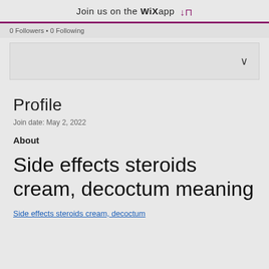Join us on the WiX app
0 Followers • 0 Following
Profile
Join date: May 2, 2022
About
Side effects steroids cream, decoctum meaning
Side effects steroids cream, decoctum